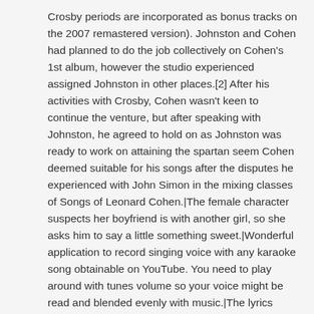Crosby periods are incorporated as bonus tracks on the 2007 remastered version). Johnston and Cohen had planned to do the job collectively on Cohen's 1st album, however the studio experienced assigned Johnston in other places.[2] After his activities with Crosby, Cohen wasn't keen to continue the venture, but after speaking with Johnston, he agreed to hold on as Johnston was ready to work on attaining the spartan seem Cohen deemed suitable for his songs after the disputes he experienced with John Simon in the mixing classes of Songs of Leonard Cohen.|The female character suspects her boyfriend is with another girl, so she asks him to say a little something sweet.|Wonderful application to record singing voice with any karaoke song obtainable on YouTube. You need to play around with tunes volume so your voice might be read and blended evenly with music.|The lyrics element a man asking a woman not to interrupt his heart, whilst the woman guarantees she won?◆t harm him.|The CD+G format of a karaoke disc, which includes the lyrics on a specifically encoded subcode keep track of, has heretofore essential Particular?◆and expensive?? equipment|gear|tools|products|devices|machines} to Perform.